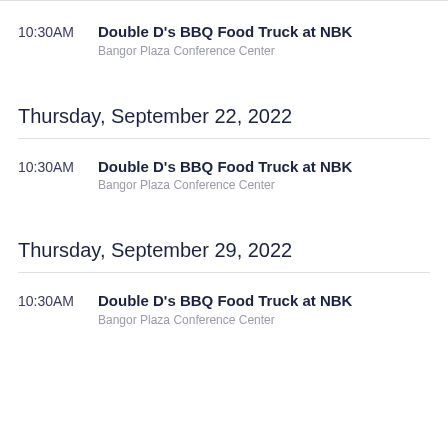10:30AM — Double D's BBQ Food Truck at NBK, Bangor Plaza Conference Center
Thursday, September 22, 2022
10:30AM — Double D's BBQ Food Truck at NBK, Bangor Plaza Conference Center
Thursday, September 29, 2022
10:30AM — Double D's BBQ Food Truck at NBK, Bangor Plaza Conference Center